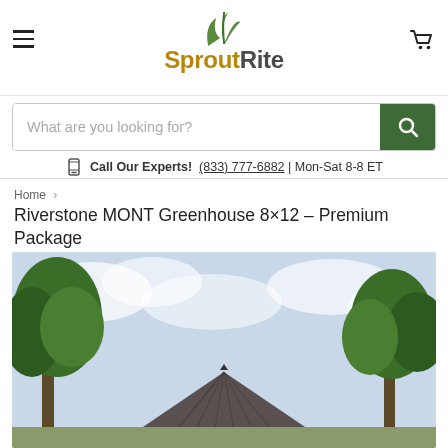SproutRite
What are you looking for?
Call Our Experts! (833) 777-6882 | Mon-Sat 8-8 ET
Home › Riverstone MONT Greenhouse 8×12 – Premium Package
Riverstone MONT Greenhouse 8×12 – Premium Package
[Figure (photo): Exterior photo of a greenhouse with a dark metal roof surrounded by green trees against a partly cloudy sky]